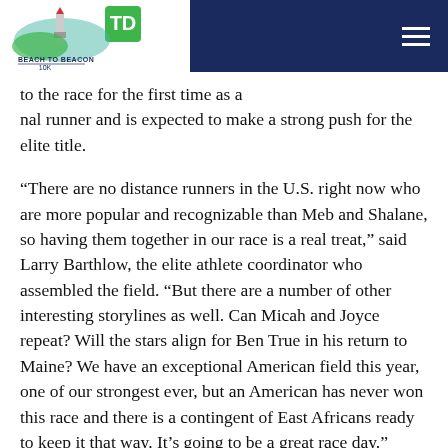TD Beach to Beacon 10K
to the race for the first time as a nal runner and is expected to make a strong push for the elite title.
“There are no distance runners in the U.S. right now who are more popular and recognizable than Meb and Shalane, so having them together in our race is a real treat,” said Larry Barthlow, the elite athlete coordinator who assembled the field. “But there are a number of other interesting storylines as well. Can Micah and Joyce repeat? Will the stars align for Ben True in his return to Maine? We have an exceptional American field this year, one of our strongest ever, but an American has never won this race and there is a contingent of East Africans ready to keep it that way. It’s going to be a great race day.”
Both Keflezighi and Flanagan are coming off record-setting performances at the 2014 B.A.A. Boston